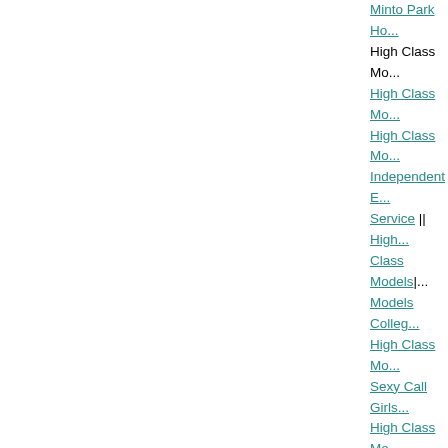Minto Park Ho...
High Class Mo...
High Class Mo...
High Class Mo...
Independent E... Service || High Class Models|...
Models Colleg...
High Class Mo...
Sexy Call Girls...
High Class Mo...
Escorts|| High...
Models Model...
Housewife Esc...
Dating Models...
Dating Model...
Models Femal...
Escorts|| Dati...
Models Escor...
Dating Models...
Models Call G...
Call Girl|| Dati...
in Dating Mod...
Model Escorts...
Models Model...
Escort||...